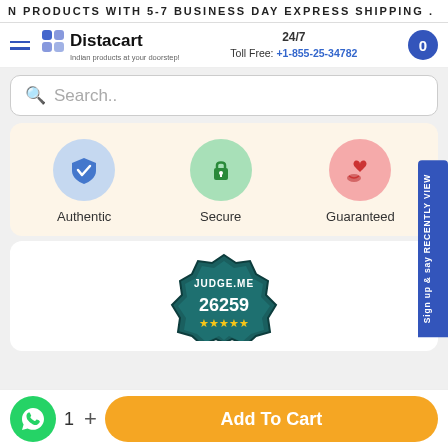N PRODUCTS WITH 5-7 BUSINESS DAY EXPRESS SHIPPING .
[Figure (logo): Distacart logo with hamburger menu, 24/7 Toll Free phone number +1-855-25-34782, and cart button]
Search..
[Figure (infographic): Trust badges: Authentic (blue shield checkmark), Secure (green lock), Guaranteed (pink heart/hands)]
[Figure (other): Judge.me badge showing 26259 reviews with 4.5 star rating]
Sign up & say RECENTLY VIEW
1   +   Add To Cart